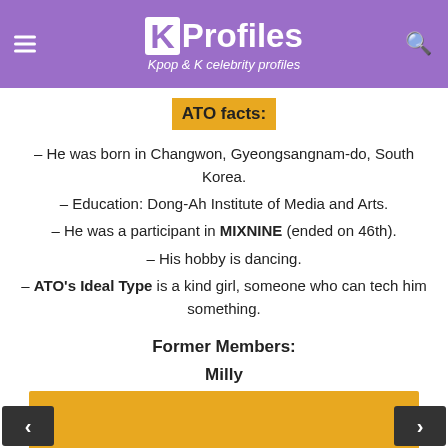KProfiles — Kpop & K celebrity profiles
ATO facts:
– He was born in Changwon, Gyeongsangnam-do, South Korea.
– Education: Dong-Ah Institute of Media and Arts.
– He was a participant in MIXNINE (ended on 46th).
– His hobby is dancing.
– ATO's Ideal Type is a kind girl, someone who can tech him something.
Former Members:
Milly
[Figure (photo): Golden/yellow colored image placeholder for Milly photo]